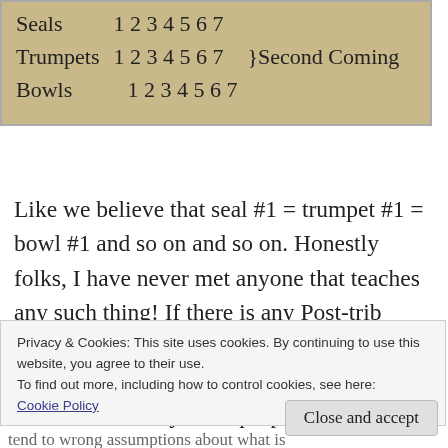| Seals | 1 2 3 4 5 6 7 |
| Trumpets | 1 2 3 4 5 6 7 | }Second Coming |
| Bowls | 1 2 3 4 5 6 7 |
Like we believe that seal #1 = trumpet #1 = bowl #1 and so on and so on. Honestly folks, I have never met anyone that teaches any such thing! If there is any Post-trib teacher claiming such a structure of total concurrence he would be a one-off for sure. That is absolutely not a proper example of
Privacy & Cookies: This site uses cookies. By continuing to use this website, you agree to their use.
To find out more, including how to control cookies, see here: Cookie Policy
Close and accept
tend to wrong assumptions about what is